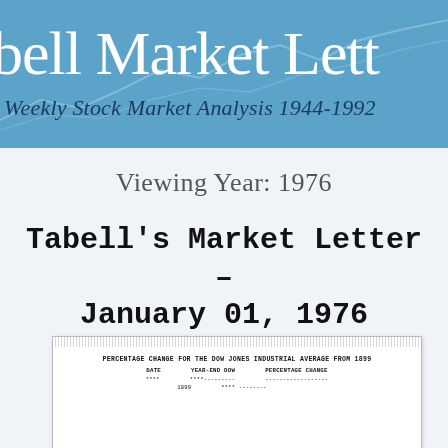bell Market Lett
Weekly Stock Market Analysis 1944-1992
Viewing Year: 1976
Tabell's Market Letter – January 01, 1976
[Figure (other): Scanned document preview showing a table titled 'PERCENTAGE CHANGE FOR THE DOW JONES INDUSTRIAL AVERAGE FROM 1899' with columns for DATE, YEAR-END DOW, and PERCENTAGE CHANGE]